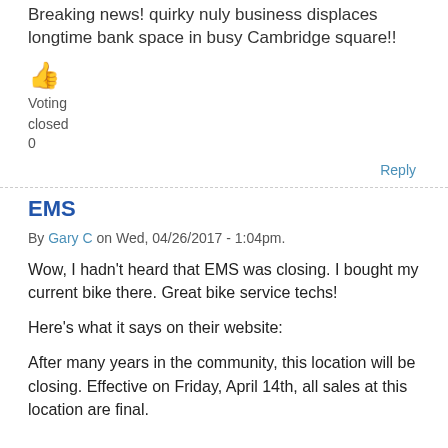Breaking news! quirky nuly business displaces longtime bank space in busy Cambridge square!!
[Figure (illustration): Thumbs up emoji icon in orange/yellow color]
Voting
closed
0
Reply
EMS
By Gary C on Wed, 04/26/2017 - 1:04pm.
Wow, I hadn't heard that EMS was closing. I bought my current bike there. Great bike service techs!
Here's what it says on their website:
After many years in the community, this location will be closing. Effective on Friday, April 14th, all sales at this location are final.